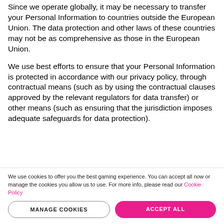Since we operate globally, it may be necessary to transfer your Personal Information to countries outside the European Union. The data protection and other laws of these countries may not be as comprehensive as those in the European Union.
We use best efforts to ensure that your Personal Information is protected in accordance with our privacy policy, through contractual means (such as by using the contractual clauses approved by the relevant regulators for data transfer) or other means (such as ensuring that the jurisdiction imposes adequate safeguards for data protection).
We use cookies to offer you the best gaming experience. You can accept all now or manage the cookies you allow us to use. For more info, please read our Cookie Policy